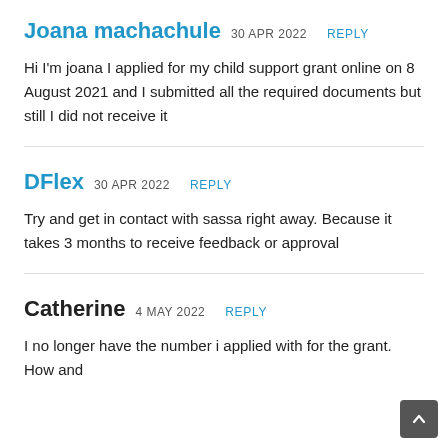Joana machachule 30 APR 2022 REPLY
Hi I'm joana I applied for my child support grant online on 8 August 2021 and I submitted all the required documents but still I did not receive it
DFlex 30 APR 2022 REPLY
Try and get in contact with sassa right away. Because it takes 3 months to receive feedback or approval
Catherine 4 MAY 2022 REPLY
I no longer have the number i applied with for the grant. How and